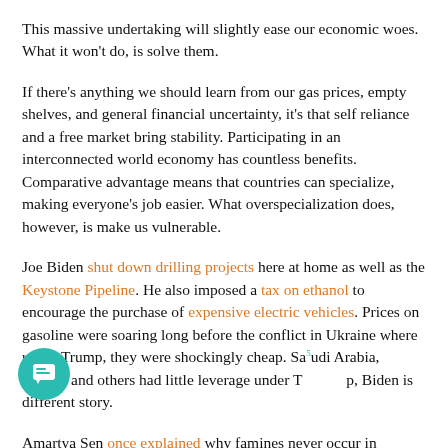This massive undertaking will slightly ease our economic woes. What it won't do, is solve them.
If there's anything we should learn from our gas prices, empty shelves, and general financial uncertainty, it's that self reliance and a free market bring stability. Participating in an interconnected world economy has countless benefits. Comparative advantage means that countries can specialize, making everyone's job easier. What overspecialization does, however, is make us vulnerable.
Joe Biden shut down drilling projects here at home as well as the Keystone Pipeline. He also imposed a tax on ethanol to encourage the purchase of expensive electric vehicles. Prices on gasoline were soaring long before the conflict in Ukraine where under Trump, they were shockingly cheap. Saudi Arabia, Russia, and others had little leverage under Trump, Biden is different story.
Amartya Sen once explained why famines never occur in...